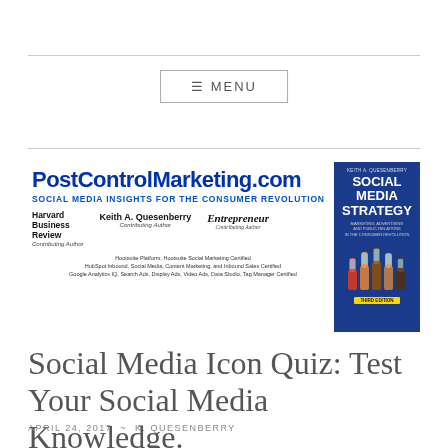MENU
[Figure (logo): PostControlMarketing.com banner with logo, Social Media Strategy book cover, Harvard Business Review, Keith A. Quesenberry, Entrepreneur credits, and certification text]
Social Media Icon Quiz: Test Your Social Media Knowledge.
APRIL 24, 2017  ~  K. QUESENBERRY